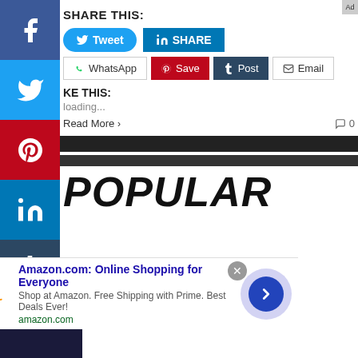SHARE THIS:
[Figure (screenshot): Social share buttons: Tweet (Twitter blue), SHARE (LinkedIn blue), WhatsApp, Save (Pinterest red), Post (Tumblr dark), Email (grey border)]
LIKE THIS:
Loading...
Read More >    0
POPULAR
[Figure (screenshot): Amazon advertisement banner: Amazon.com: Online Shopping for Everyone. Shop at Amazon. Free Shipping with Prime. Best Deals Ever! amazon.com]